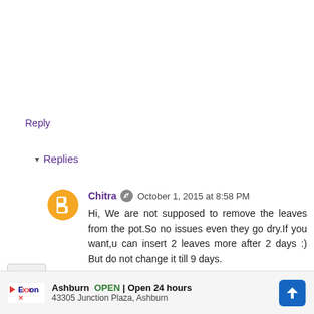Reply
▾ Replies
Chitra  October 1, 2015 at 8:58 PM
Hi, We are not supposed to remove the leaves from the pot.So no issues even they go dry.If you want,u can insert 2 leaves more after 2 days :) But do not change it till 9 days.
[Figure (infographic): Advertisement bar at the bottom: Exxon logo, Ashburn OPEN Open 24 hours, 43305 Junction Plaza, Ashburn, blue navigation icon]